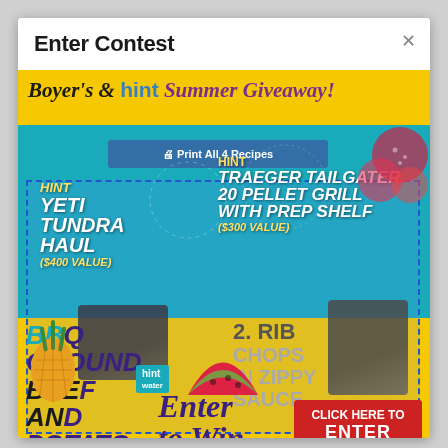Enter Contest
[Figure (infographic): Boyer's & hint Summer Giveaway promotional image featuring HINT YETI TUNDRA HAUL ($400 value) and HINT TRAEGER TAILGATER 20 PELLET GRILL WITH PREP SHELF ($300 value) prizes, with recipe text for BBQ Ground Beef and Rib Chops in Zippy Sauce, Enter to Win text, and a Click Here to Enter red button. Yellow banner at top, teal background in middle, fruit and product images overlaid.]